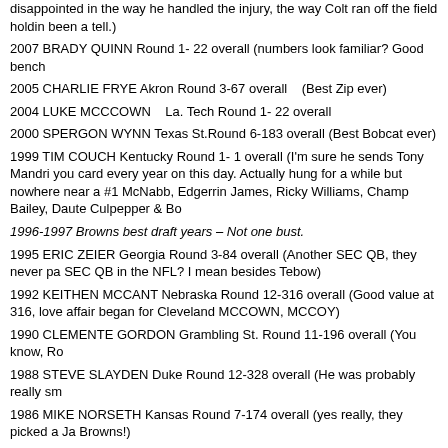disappointed in the way he handled the injury, the way Colt ran off the field holdin been a tell.)
2007 BRADY QUINN  Round 1- 22 overall  (numbers look familiar? Good bench
2005 CHARLIE FRYE Akron Round 3-67 overall   (Best Zip ever)
2004 LUKE MCCCOWN   La. Tech Round 1- 22 overall
2000 SPERGON WYNN  Texas St.Round 6-183 overall (Best Bobcat ever)
1999 TIM COUCH  Kentucky Round 1- 1 overall  (I'm sure he sends Tony Mandri you card every year on this day.  Actually hung for a while but nowhere near a #1 McNabb, Edgerrin James, Ricky Williams, Champ Bailey, Daute Culpepper & Bo
1996-1997 Browns best draft years – Not one bust.
1995 ERIC ZEIER  Georgia Round 3-84 overall  (Another SEC QB, they never pa SEC QB in the NFL? I mean besides Tebow)
1992 KEITHEN MCCANT Nebraska Round 12-316 overall  (Good value at 316, love affair began for Cleveland MCCOWN, MCCOY)
1990 CLEMENTE GORDON Grambling St. Round 11-196 overall (You know, Ro
1988 STEVE SLAYDEN  Duke Round 12-328 overall  (He was probably really sm
1986 MIKE NORSETH Kansas  Round 7-174 overall  (yes really, they picked a Ja Browns!)
1984 TERRY NUGENT Colorado St. Round 6-158 overall  (Wango – Tango)
1982 STEVE MICHUTA Grand Valley St. Round 6-158 overall  (That's exactly wh
1980 PAUL MCDONALD  USC  Round 4-109 overall
1978 MARK MILLER Bowling Green Round 3-68 overall